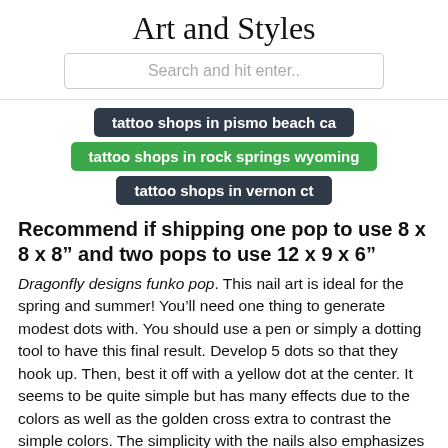Art and Styles
Search and hit enter..
tattoo shops in pismo beach ca
tattoo shops in rock springs wyoming
tattoo shops in vernon ct
Recommend if shipping one pop to use 8 x 8 x 8” and two pops to use 12 x 9 x 6”
Dragonfly designs funko pop. This nail art is ideal for the spring and summer! You’ll need one thing to generate modest dots with. You should use a pen or simply a dotting tool to have this final result. Develop 5 dots so that they hook up. Then, best it off with a yellow dot at the center. It seems to be quite simple but has many effects due to the colors as well as the golden cross extra to contrast the simple colors. The simplicity with the nails also emphasizes its attractiveness without overshadowing the wearer. This is a fantastic design for women who are usually conservative however still wish to